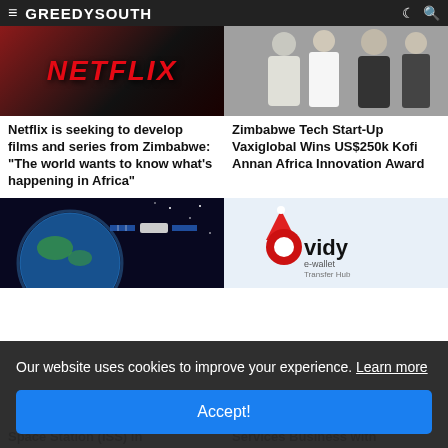GREEDYSOUTH
[Figure (photo): Netflix logo on dark background]
[Figure (photo): Group of people standing, professional setting]
Netflix is seeking to develop films and series from Zimbabwe: "The world wants to know what's happening in Africa"
Zimbabwe Tech Start-Up Vaxiglobal Wins US$250k Kofi Annan Africa Innovation Award
[Figure (photo): Satellite orbiting Earth in space]
[Figure (logo): Ovidy e-wallet Transfer Hub logo with Santa hat]
Our website uses cookies to improve your experience. Learn more
Accept!
Space Station (ISS) in
Services Business with